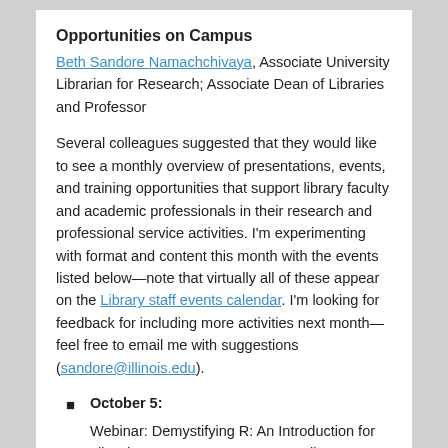Opportunities on Campus
Beth Sandore Namachchivaya, Associate University Librarian for Research; Associate Dean of Libraries and Professor
Several colleagues suggested that they would like to see a monthly overview of presentations, events, and training opportunities that support library faculty and academic professionals in their research and professional service activities. I'm experimenting with format and content this month with the events listed below—note that virtually all of these appear on the Library staff events calendar. I'm looking for feedback for including more activities next month—feel free to email me with suggestions (sandore@illinois.edu).
October 5:
Webinar: Demystifying R: An Introduction for Librarians; 1 – 2:30pm CST; 428 Library
October 6, 13, 20, 27:
Digital Scholarship Lunch & Learn; Noon – 1:00